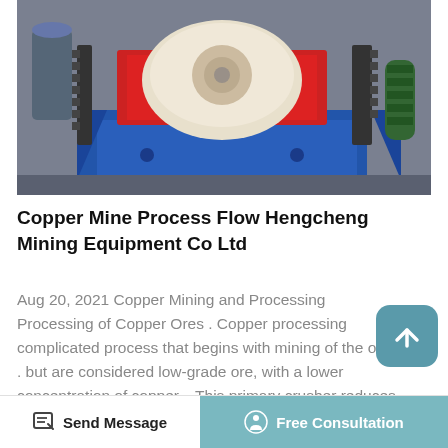[Figure (photo): Industrial mining machine (jaw crusher or similar) with large white/cream colored body, red frame, blue base, and gear mechanisms visible. Industrial warehouse/factory setting.]
Copper Mine Process Flow Hengcheng Mining Equipment Co Ltd
Aug 20, 2021 Copper Mining and Processing Processing of Copper Ores . Copper processing complicated process that begins with mining of the ore . but are considered low-grade ore, with a lower concentration of copper. . This primary crusher reduces the size of the ore from boulder to golf ball-sized rocks. .Jul 06, 2020 With the gradual decrease in the grade of copper ores being processed, copper concentrates have become
Send Message   Free Consultation